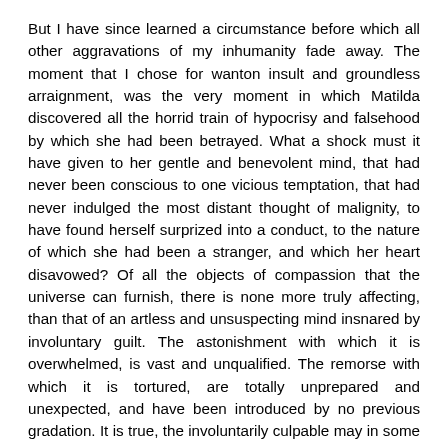But I have since learned a circumstance before which all other aggravations of my inhumanity fade away. The moment that I chose for wanton insult and groundless arraignment, was the very moment in which Matilda discovered all the horrid train of hypocrisy and falsehood by which she had been betrayed. What a shock must it have given to her gentle and benevolent mind, that had never been conscious to one vicious temptation, that had never indulged the most distant thought of malignity, to have found herself surprized into a conduct, to the nature of which she had been a stranger, and which her heart disavowed? Of all the objects of compassion that the universe can furnish, there is none more truly affecting, than that of an artless and unsuspecting mind insnared by involuntary guilt. The astonishment with which it is overwhelmed, is vast and unqualified. The remorse with which it is tortured, are totally unprepared and unexpected, and have been introduced by no previous gradation. It is true, the involuntarily culpable may in some sense be pronounced wholly innocent. The guilty mind is full of prompt excuses, and ready evasions, but the untainted spirit, not inured to the sophistry of vice, cannot accommodate itself with these subterfuges. If such be the state of vulgar minds involved in this unfortunate situation, what must have been that of so soft and inoffensive a spirit?